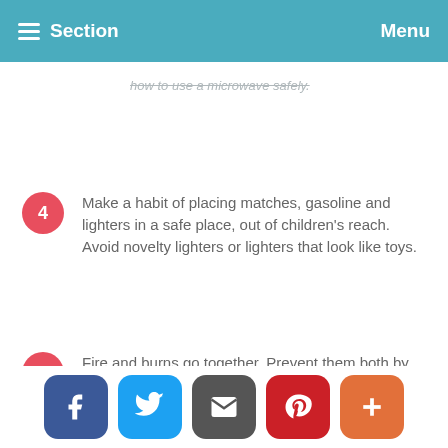Section  Menu
how to use a microwave safely.
4. Make a habit of placing matches, gasoline and lighters in a safe place, out of children's reach. Avoid novelty lighters or lighters that look like toys.
5. Fire and burns go together. Prevent them both by installing smoke alarms and carbon monoxide alarms.
Resources
We use cookies on this site to enhance your user experience
By clicking any link on this page you are giving your consent for us to set cookies. No, give me more info